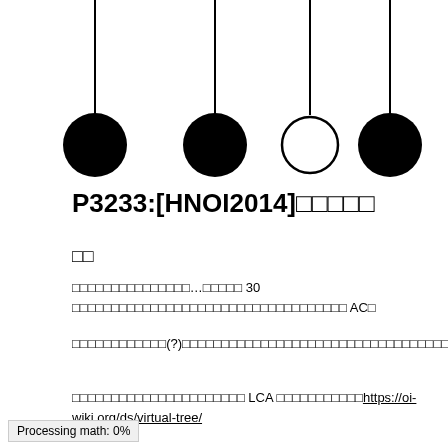[Figure (other): Tree diagram showing four nodes hanging from lines: three filled black circles and one empty/white circle, arranged left to right with lines going up and to the center.]
P3233:[HNOI2014]□□□□□
□□
□□□□□□□□□□□□□□□…□□□□□ 30 □□□□□□□□□□□□□□□□□□□□□□□□□□□□□□□□□□□ AC□
□□□□□□□□□□□□(?)□□□□□□□□□□□□□□□□□□□□□□□□□□□□□□□□□□□□□□□□□□□□□□□□□□□□□□□□□□□
□□□□□□□□□□□□□□□□□□□□□□ LCA □□□□□□□□□□□https://oi-wiki.org/ds/virtual-tree/
Processing math: 0%